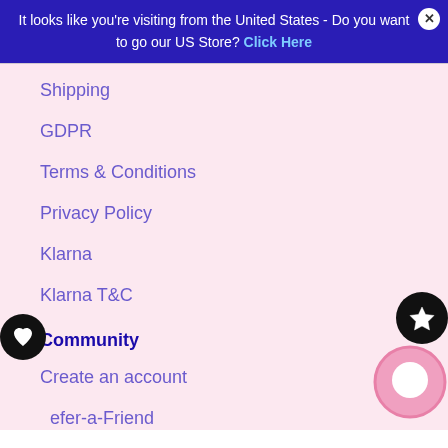It looks like you're visiting from the United States - Do you want to go our US Store? Click Here
Shipping
GDPR
Terms & Conditions
Privacy Policy
Klarna
Klarna T&C
Community
Create an account
Refer-a-Friend
Reviews
Rewards